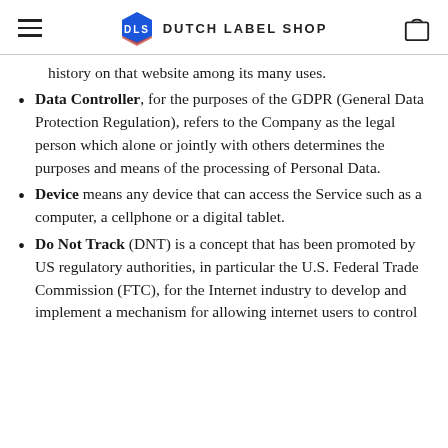Dutch Label Shop
history on that website among its many uses.
Data Controller, for the purposes of the GDPR (General Data Protection Regulation), refers to the Company as the legal person which alone or jointly with others determines the purposes and means of the processing of Personal Data.
Device means any device that can access the Service such as a computer, a cellphone or a digital tablet.
Do Not Track (DNT) is a concept that has been promoted by US regulatory authorities, in particular the U.S. Federal Trade Commission (FTC), for the Internet industry to develop and implement a mechanism for allowing internet users to control